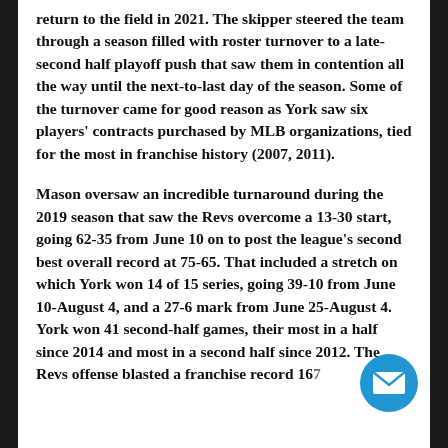return to the field in 2021. The skipper steered the team through a season filled with roster turnover to a late-second half playoff push that saw them in contention all the way until the next-to-last day of the season. Some of the turnover came for good reason as York saw six players' contracts purchased by MLB organizations, tied for the most in franchise history (2007, 2011).
Mason oversaw an incredible turnaround during the 2019 season that saw the Revs overcome a 13-30 start, going 62-35 from June 10 on to post the league's second best overall record at 75-65. That included a stretch on which York won 14 of 15 series, going 39-10 from June 10-August 4, and a 27-6 mark from June 25-August 4. York won 41 second-half games, their most in a half since 2014 and most in a second half since 2012. The Revs offense blasted a franchise record 167